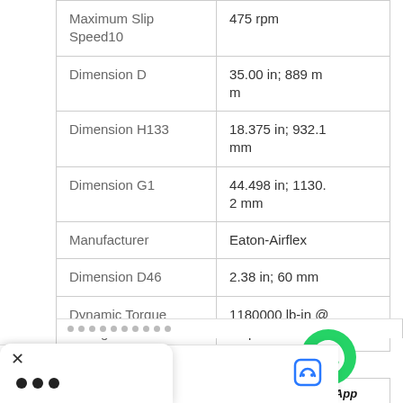| Parameter | Value |
| --- | --- |
| Maximum Slip Speed10 | 475 rpm |
| Dimension D | 35.00 in; 889 mm |
| Dimension H133 | 18.375 in; 932.1 mm |
| Dimension G1 | 44.498 in; 1130.2 mm |
| Manufacturer | Eaton-Airflex |
| Dimension D46 | 2.38 in; 60 mm |
| Dynamic Torque Rating7 | 1180000 lb-in @ 80 p |
[Figure (logo): WhatsApp green phone icon with 'WhatsApp Online' label]
Chat now